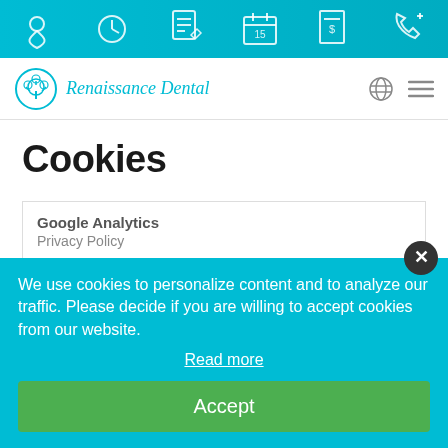[Figure (screenshot): Top navigation icon bar with teal/cyan gradient background containing 6 icons: location pin, clock, document/edit, calendar, receipt/bill, phone]
[Figure (logo): Renaissance Dental logo with circular tree icon in teal and italic text 'Renaissance Dental', plus globe and hamburger menu icons on the right]
Cookies
| Google Analytics | Privacy Policy |
| Renaissance Dental | Patientjournal |
We use cookies to personalize content and to analyze our traffic. Please decide if you are willing to accept cookies from our website.
Read more
Accept